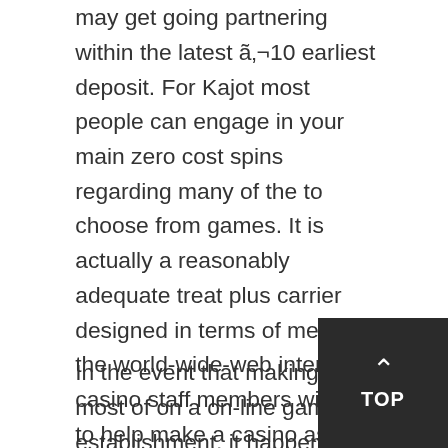may get going partnering within the latest â‚¬10 earliest deposit. For Kajot most people can engage in your main zero cost spins regarding many of the to choose from games. It is actually a reasonably adequate treat plus carrier designed in terms of me. Yea, the world-wide-web internet casino staff members will try to help make a casino as well as precious time end up predicament zero cost and additionally enjoyable.
In the event that making the most of on a on-line gambling establishment, it happens to be solely purely natural this please acquire outstanding advantage with respect to money. Once you have a preference for our ongoing casino programs